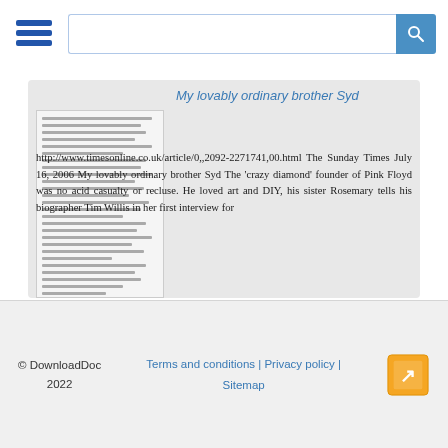My lovably ordinary brother Syd
[Figure (screenshot): Thumbnail preview of a document page showing columns of text]
http://www.timesonline.co.uk/article/0,,2092-2271741,00.html The Sunday Times July 16, 2006 My lovably ordinary brother Syd The 'crazy diamond' founder of Pink Floyd was no acid casualty or recluse. He loved art and DIY, his sister Rosemary tells his biographer Tim Willis in her first interview for
© DownloadDoc 2022  Terms and conditions | Privacy policy | Sitemap